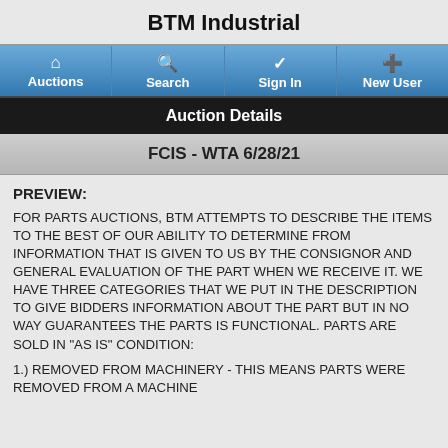BTM Industrial
Auctions | Search | Sign In | New User
Auction Details
FCIS - WTA 6/28/21
PREVIEW:
FOR PARTS AUCTIONS, BTM ATTEMPTS TO DESCRIBE THE ITEMS TO THE BEST OF OUR ABILITY TO DETERMINE FROM INFORMATION THAT IS GIVEN TO US BY THE CONSIGNOR AND GENERAL EVALUATION OF THE PART WHEN WE RECEIVE IT. WE HAVE THREE CATEGORIES THAT WE PUT IN THE DESCRIPTION TO GIVE BIDDERS INFORMATION ABOUT THE PART BUT IN NO WAY GUARANTEES THE PARTS IS FUNCTIONAL. PARTS ARE SOLD IN "AS IS" CONDITION:
1.) REMOVED FROM MACHINERY - THIS MEANS PARTS WERE REMOVED FROM A MACHINE